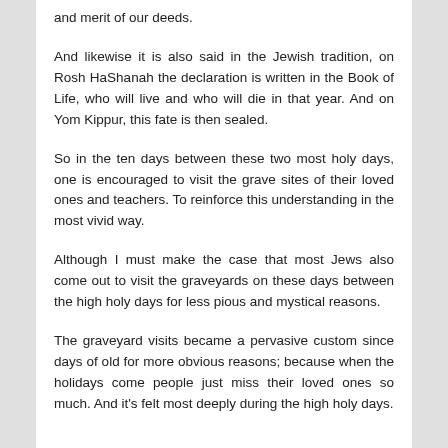and merit of our deeds.
And likewise it is also said in the Jewish tradition, on Rosh HaShanah the declaration is written in the Book of Life, who will live and who will die in that year. And on Yom Kippur, this fate is then sealed.
So in the ten days between these two most holy days, one is encouraged to visit the grave sites of their loved ones and teachers. To reinforce this understanding in the most vivid way.
Although I must make the case that most Jews also come out to visit the graveyards on these days between the high holy days for less pious and mystical reasons.
The graveyard visits became a pervasive custom since days of old for more obvious reasons; because when the holidays come people just miss their loved ones so much. And it's felt most deeply during the high holy days.